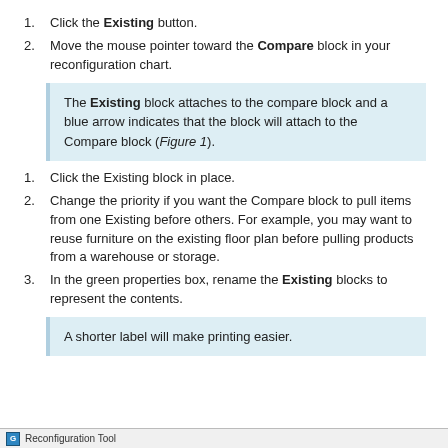Click the Existing button.
Move the mouse pointer toward the Compare block in your reconfiguration chart.
The Existing block attaches to the compare block and a blue arrow indicates that the block will attach to the Compare block (Figure 1).
Click the Existing block in place.
Change the priority if you want the Compare block to pull items from one Existing before others. For example, you may want to reuse furniture on the existing floor plan before pulling products from a warehouse or storage.
In the green properties box, rename the Existing blocks to represent the contents.
A shorter label will make printing easier.
Reconfiguration Tool